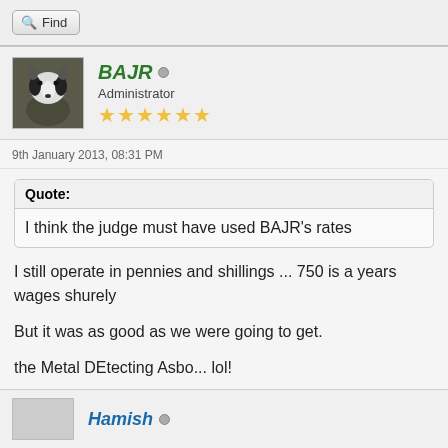Find
BAJR  Administrator ★★★★★★
9th January 2013, 08:31 PM
Quote: I think the judge must have used BAJR's rates
I still operate in pennies and shillings ... 750 is a years wages shurely
But it was as good as we were going to get.
the Metal DEtecting Asbo... lol!
Find
Hamish